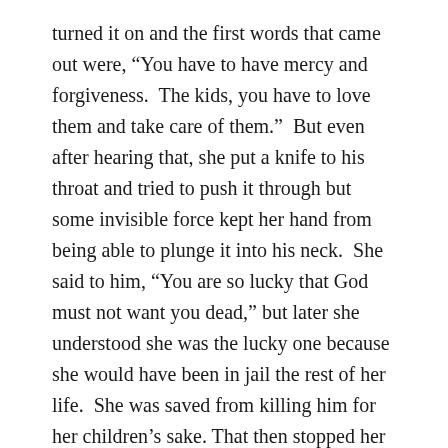turned it on and the first words that came out were, “You have to have mercy and forgiveness.  The kids, you have to love them and take care of them.”  But even after hearing that, she put a knife to his throat and tried to push it through but some invisible force kept her hand from being able to plunge it into his neck.  She said to him, “You are so lucky that God must not want you dead,” but later she understood she was the lucky one because she would have been in jail the rest of her life.  She was saved from killing him for her children’s sake. That then stopped her from letting him bleed out and she called the police.
Later she married another man who promised that if she married him, he would stop using drugs.  Of course, he